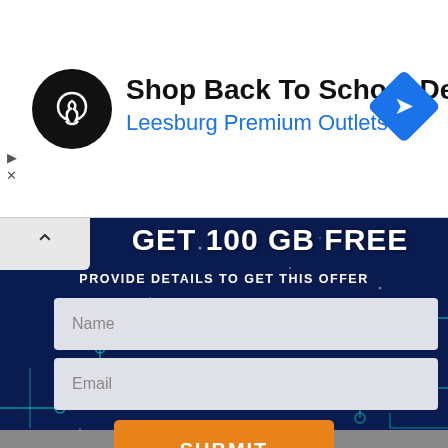[Figure (screenshot): Advertisement banner for Leesburg Premium Outlets: circular black logo with infinity-like symbol, text 'Shop Back To School Deals' in bold and 'Leesburg Premium Outlets' in blue, blue diamond navigation icon on right, with ad controls (play and X) on left side.]
GET 100 GB FREE
PROVIDE DETAILS TO GET THIS OFFER
Name
Email
SUBMIT